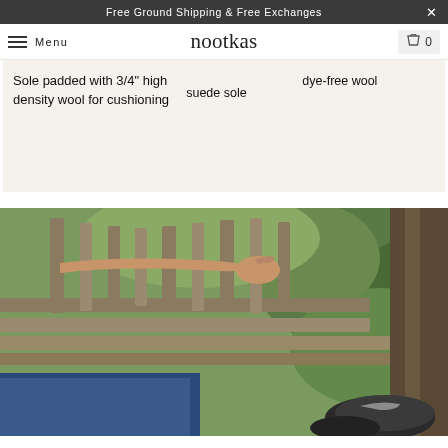Free Ground Shipping & Free Exchanges
nootkas  Menu  0
Sole padded with 3/4" high density wool for cushioning
suede sole
dye-free wool
[Figure (photo): Person sitting on a wooden outdoor bench, wearing blue jeans and dark wool slippers, with green foliage in the background.]